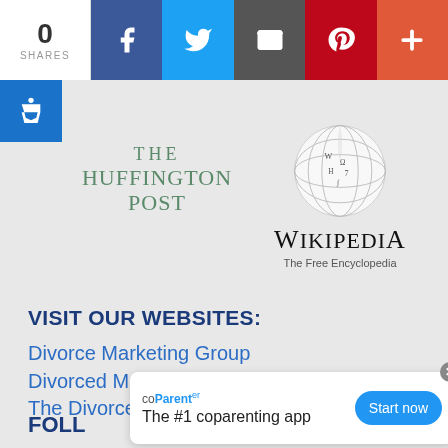[Figure (screenshot): Social share bar with 0 shares count, Facebook, Twitter, Email, Pinterest, and more (+) buttons]
[Figure (logo): The Huffington Post logo in teal serif text]
[Figure (logo): Wikipedia globe logo with text 'WIKIPEDIA The Free Encyclopedia']
VISIT OUR WEBSITES:
Divorce Marketing Group
Divorced Moms
The Divorce School
FOLL
[Figure (screenshot): coParenter ad banner: 'The #1 coparenting app' with Start now button and close X]